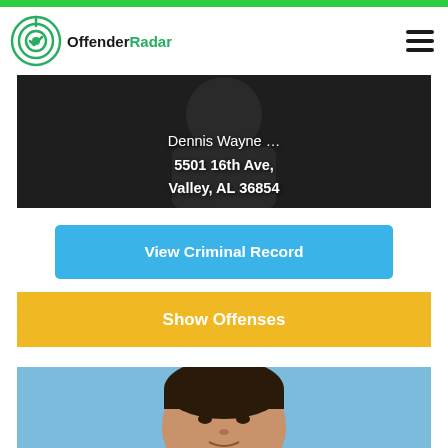OffenderRadar
[Figure (photo): Partially visible offender photo with address overlay: Dennis Wayne ... 5501 16th Ave, Valley, AL 36854]
5501 16th Ave, Valley, AL 36854
View Criminal Record
Show Offenses
[Figure (photo): Mug shot photo of a middle-aged woman with dark hair pulled back, against a blue background]